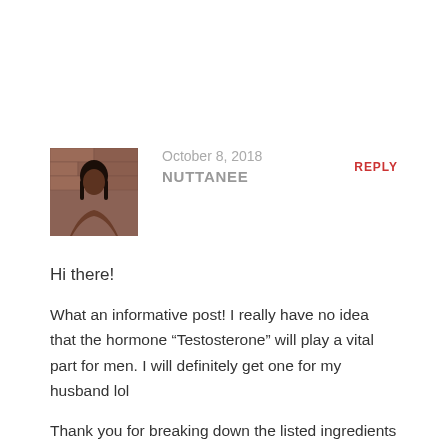[Figure (photo): Avatar photo of a woman with straight hair against a brick wall background]
October 8, 2018
NUTTANEE
REPLY
Hi there!
What an informative post! I really have no idea that the hormone “Testosterone” will play a vital part for men. I will definitely get one for my husband lol
Thank you for breaking down the listed ingredients and their benefits since many technical terms tend to confuse me. I guess my question is if you take this supplement in a long term will it harm your kidney? And also how long should one be taking this supplement? Last but not least should one be taking the supplement on an empty stomach? or with a meal?